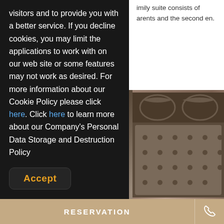imily suite consists of arents and the second en.
visitors and to provide you with a better service. If you decline cookies, you may limit the applications to work with on our web site or some features may not work as desired. For more information about our Cookie Policy please click here. Click here to learn more about our Company's Personal Data Storage and Destruction Policy
[Figure (photo): Hotel room with ornate tufted headboard in gray/beige tones, shown in lower right portion of page]
Accept
RESERVATION